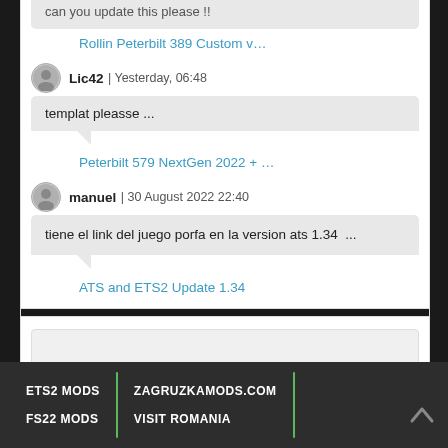can you update this please !!
Rollin Peterbilt 389 Custom v…
Lic42 | Yesterday, 06:48
templat pleasse ...
Peterbilt 579 NextGen 2022 + …
manuel | 30 August 2022 22:40
tiene el link del juego porfa en la version ats 1.34  ...
ATS and ETS2 Update 1.34
ETS2 MODS
ZAGRUZKAMODS.COM
FS22 MODS
VISIT ROMANIA